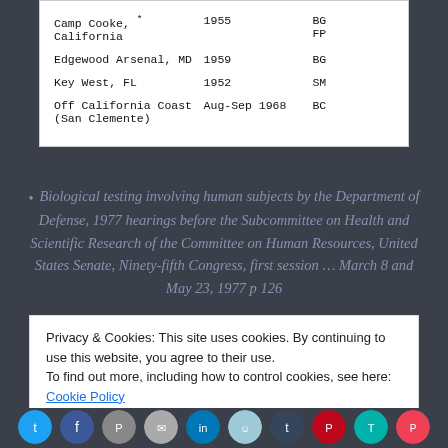| Location | Date | Code |
| --- | --- | --- |
| Camp Cooke, *
California | 1955 | BG
FP |
| Edgewood Arsenal, MD | 1959 | BG |
| Key West, FL | 1952 | SM |
| Off California Coast
(San Clemente) | Aug-Sep 1968 | BC |
Biological testing involving human subjects by the Department of Defense, 1977 hearings before the Subcommittee on Health and Scientific Research of the Committee on Human Resources, United States Senate, Ninety-fifth Congress, first session … March 8 and May 23, 1977 p 126
Privacy & Cookies: This site uses cookies. By continuing to use this website, you agree to their use.
To find out more, including how to control cookies, see here: Cookie Policy